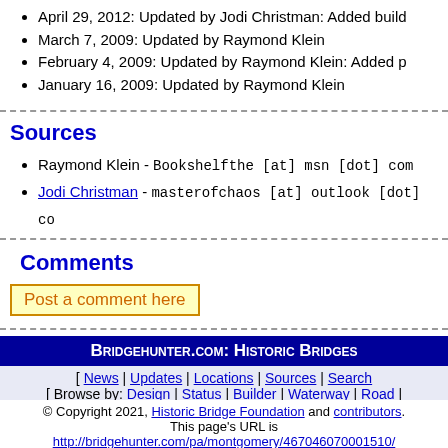April 29, 2012: Updated by Jodi Christman: Added build
March 7, 2009: Updated by Raymond Klein
February 4, 2009: Updated by Raymond Klein: Added p
January 16, 2009: Updated by Raymond Klein
Sources
Raymond Klein - Bookshelfthe [at] msn [dot] com
Jodi Christman - masterofchaos [at] outlook [dot] co
Comments
Post a comment here
Bridgehunter.com: Historic Bridges
[ News | Updates | Locations | Sources | Search
[ Browse by: Design | Status | Builder | Waterway | Road |
© Copyright 2021, Historic Bridge Foundation and contributors. This page's URL is http://bridgehunter.com/pa/montgomery/467046070001510/